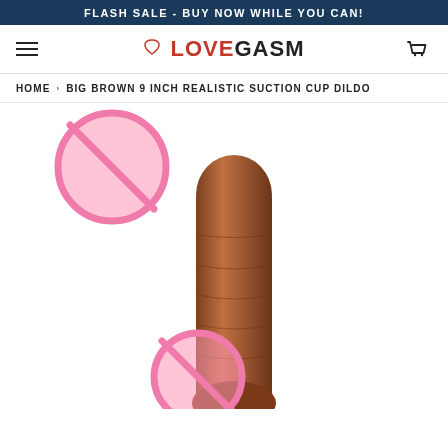FLASH SALE - BUY NOW WHILE YOU CAN!
LOVEGASM (logo with hamburger menu and cart icon)
HOME › BIG BROWN 9 INCH REALISTIC SUCTION CUP DILDO
[Figure (photo): Product photo of a brown realistic suction cup dildo with pink censorship/no symbol overlays covering explicit parts of the image.]